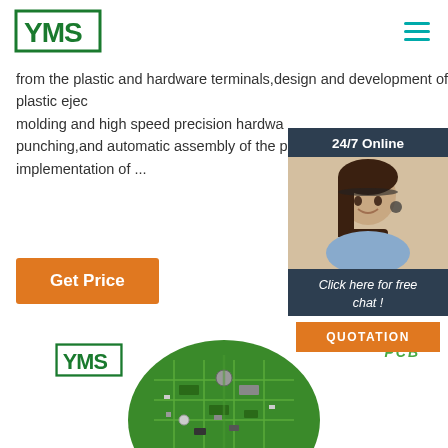YMS logo and navigation
from the plastic and hardware terminals,design and development of mold,precision plastic ejection molding and high speed precision hardware punching,and automatic assembly of the parts,implementation of ...
[Figure (other): 24/7 Online chat widget with customer service photo, 'Click here for free chat!' text, and QUOTATION button]
Get Price
[Figure (other): YMS logo and PCB label above circular PCB board photo]